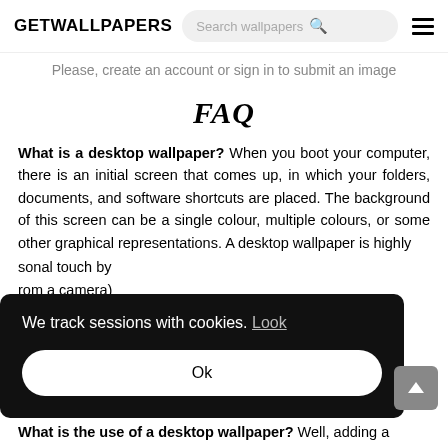GETWALLPAPERS
Please, create an account or sign in to submit an image
FAQ
What is a desktop wallpaper? When you boot your computer, there is an initial screen that comes up, in which your folders, documents, and software shortcuts are placed. The background of this screen can be a single colour, multiple colours, or some other graphical representations. A desktop wallpaper is highly [customizable and you can give it a pe]rsonal touch by adding your images (from your phone or from a camera) from the internet. What you [see as a wallpaper will] add will ne[ver affect] your co[m]puter.
We track sessions with cookies. Look
Ok
What is the use of a desktop wallpaper? Well, adding a